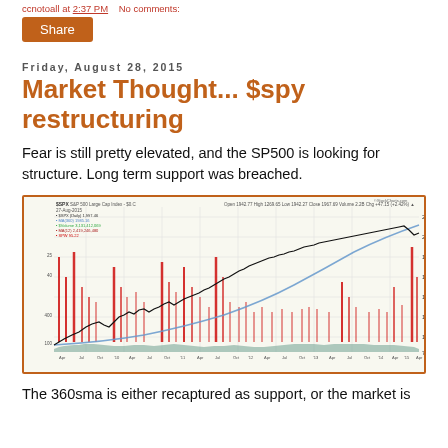ccnotoall at 2:37 PM   No comments:
Share
Friday, August 28, 2015
Market Thought... $spy restructuring
Fear is still pretty elevated, and the SP500 is looking for structure. Long term support was breached.
[Figure (continuous-plot): StockCharts chart of $SPX S&P 500 Large Cap Index showing daily price from around 2009 to August 2015. Black line shows price rising from ~700 to ~2100 with a sharp recent drop. Red bars/lines show volatility/VIX-like indicator spiking at various points. Blue curved line shows 360-day moving average rising from bottom left to upper right. Teal area at bottom shows volume. Chart header shows: Open 1942.77 High 1269.65 Low 1942.27 Close 1967.69 Volume 2.2B Chg +47.15 (+2.42%).]
The 360sma is either recaptured as support, or the market is